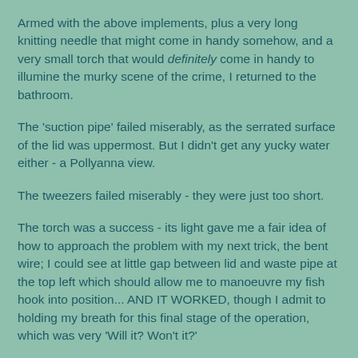Armed with the above implements, plus a very long knitting needle that might come in handy somehow, and a very small torch that would definitely come in handy to illumine the murky scene of the crime, I returned to the bathroom.
The 'suction pipe' failed miserably, as the serrated surface of the lid was uppermost. But I didn't get any yucky water either - a Pollyanna view.
The tweezers failed miserably - they were just too short.
The torch was a success - its light gave me a fair idea of how to approach the problem with my next trick, the bent wire; I could see at little gap between lid and waste pipe at the top left which should allow me to manoeuvre my fish hook into position... AND IT WORKED, though I admit to holding my breath for this final stage of the operation, which was very 'Will it? Won't it?'
So don't ever mention to me again anything about getting anything out of anywhere!